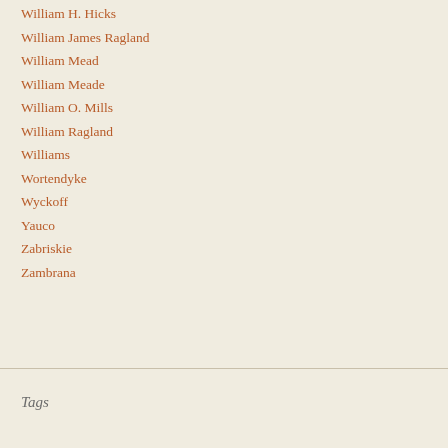William H. Hicks
William James Ragland
William Mead
William Meade
William O. Mills
William Ragland
Williams
Wortendyke
Wyckoff
Yauco
Zabriskie
Zambrana
Tags